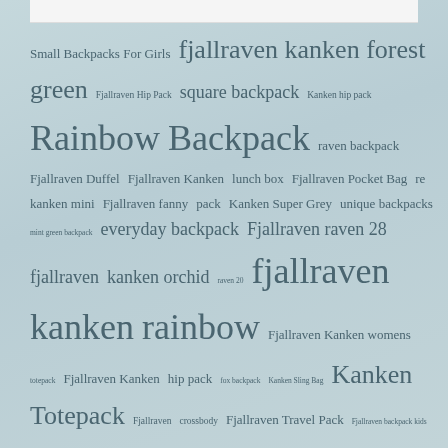[Figure (infographic): Tag cloud with various backpack and Fjallraven-related search terms displayed in varying font sizes on a muted teal/blue-gray background. Terms include: Small Backpacks For Girls, fjallraven kanken forest green, Fjallraven Hip Pack, square backpack, Kanken hip pack, Rainbow Backpack, raven backpack, Fjallraven Duffel, Fjallraven Kanken lunch box, Fjallraven Pocket Bag, re kanken mini, Fjallraven fanny pack, Kanken Super Grey, unique backpacks, mint green backpack, everyday backpack, Fjallraven raven 28, fjallraven kanken orchid, raven 20, fjallraven kanken rainbow, Fjallraven Kanken womens, totepack, Fjallraven Kanken hip pack, fox backpack, Kanken Sling Bag, Kanken Totepack, Fjallraven crossbody, Fjallraven Travel Pack, Fjallraven backpack kids, fjallraven kanken fog, Small Black Backpack, Fjallraven Backpack Sale, Kanken mini backpack, Kanken Tote Bag, Best day hiking backpack, kanken mini black, large kanken backpack, Fjallraven Kanken sling, kids, Fjallraven backpack, Fjallraven Kanken mini]